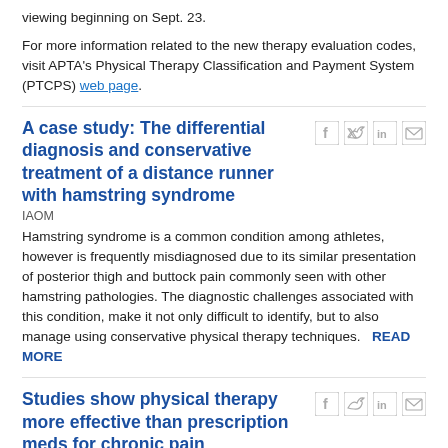viewing beginning on Sept. 23.
For more information related to the new therapy evaluation codes, visit APTA's Physical Therapy Classification and Payment System (PTCPS) web page.
A case study: The differential diagnosis and conservative treatment of a distance runner with hamstring syndrome
IAOM
Hamstring syndrome is a common condition among athletes, however is frequently misdiagnosed due to its similar presentation of posterior thigh and buttock pain commonly seen with other hamstring pathologies. The diagnostic challenges associated with this condition, make it not only difficult to identify, but to also manage using conservative physical therapy techniques.  READ MORE
Studies show physical therapy more effective than prescription meds for chronic pain
Chicago Tribune via Buffalo Grove Countryside
During a time researchers and health care professionals are